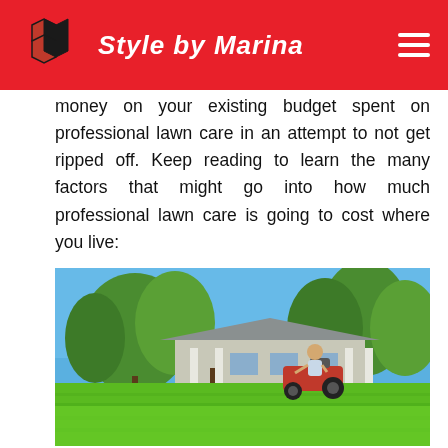Style by Marina
money on your existing budget spent on professional lawn care in an attempt to not get ripped off. Keep reading to learn the many factors that might go into how much professional lawn care is going to cost where you live:
[Figure (photo): A person riding a red zero-turn lawn mower on a large green lawn in front of a suburban house with trees under a blue sky.]